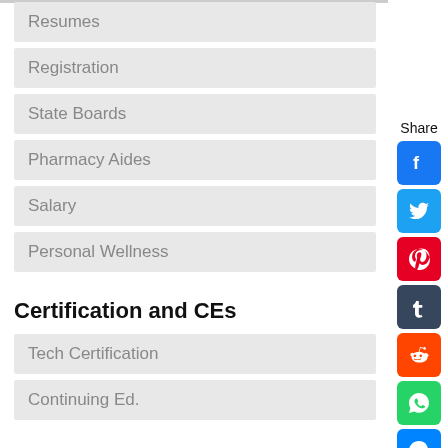Resumes
Registration
State Boards
Pharmacy Aides
Salary
Personal Wellness
Certification and CEs
Tech Certification
Continuing Ed.
[Figure (infographic): Social share sidebar with Share label, Facebook, Twitter, Pinterest, Tumblr, Reddit, WhatsApp, and Messenger icons, plus a right-arrow button]